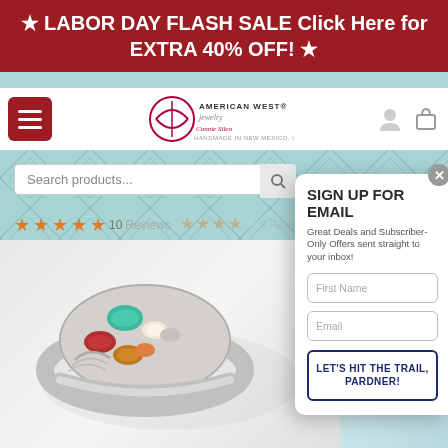★ LABOR DAY FLASH SALE Click Here for EXTRA 40% OFF! ★
[Figure (screenshot): American West Jewelry website navigation bar with hamburger menu and logo]
Search products...
[Figure (screenshot): 5 orange star rating with '10 Reviews' text]
[Figure (photo): Silver ring with multicolor gemstones including turquoise, red coral, and amber stones in a southwestern style]
[Figure (screenshot): Email signup modal overlay with title 'SIGN UP FOR EMAIL', subtitle 'Great Deals and Subscriber-Only Offers sent straight to your inbox!', First Name input, Email input, and 'LET'S HIT THE TRAIL, PARDNER!' button]